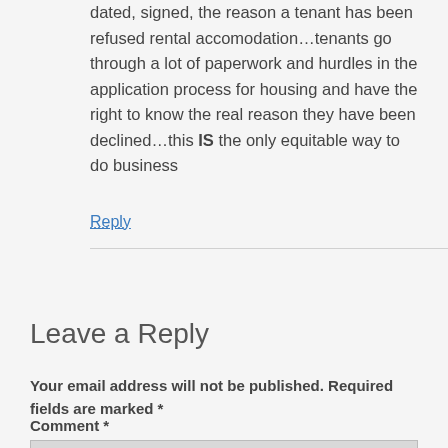dated, signed, the reason a tenant has been refused rental accomodation…tenants go through a lot of paperwork and hurdles in the application process for housing and have the right to know the real reason they have been declined…this IS the only equitable way to do business
Reply
Leave a Reply
Your email address will not be published. Required fields are marked *
Comment *